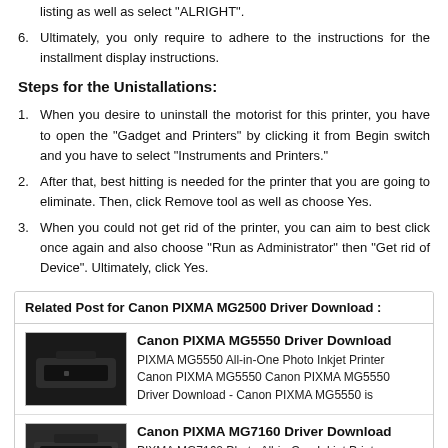listing as well as select "ALRIGHT".
6. Ultimately, you only require to adhere to the instructions for the installment display instructions.
Steps for the Unistallations:
1. When you desire to uninstall the motorist for this printer, you have to open the "Gadget and Printers" by clicking it from Begin switch and you have to select "Instruments and Printers."
2. After that, best hitting is needed for the printer that you are going to eliminate. Then, click Remove tool as well as choose Yes.
3. When you could not get rid of the printer, you can aim to best click once again and also choose "Run as Administrator" then "Get rid of Device". Ultimately, click Yes.
Related Post for Canon PIXMA MG2500 Driver Download :
Canon PIXMA MG5550 Driver Download
PIXMA MG5550 All-in-One Photo Inkjet Printer Canon PIXMA MG5550 Canon PIXMA MG5550 Driver Download - Canon PIXMA MG5550 is
Canon PIXMA MG7160 Driver Download
PIXMA MG7160 Photo All-in-One Inkjet Printers Canon PIXMA